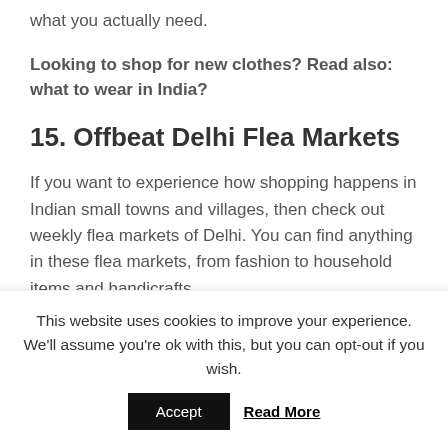what you actually need.
Looking to shop for new clothes? Read also: what to wear in India?
15. Offbeat Delhi Flea Markets
If you want to experience how shopping happens in Indian small towns and villages, then check out weekly flea markets of Delhi. You can find anything in these flea markets, from fashion to household items and handicrafts.
This website uses cookies to improve your experience. We'll assume you're ok with this, but you can opt-out if you wish.